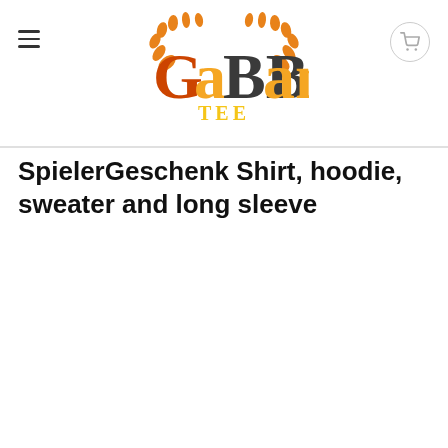GaBBana TEE — navigation header with logo and cart
SpielerGeschenk Shirt, hoodie, sweater and long sleeve